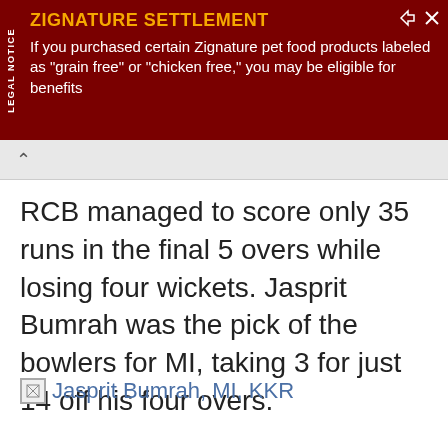[Figure (infographic): Advertisement banner with dark red background. Title reads 'ZIGNATURE SETTLEMENT' in yellow/orange bold text. Body text in white reads: 'If you purchased certain Zignature pet food products labeled as "grain free" or "chicken free," you may be eligible for benefits'. Side label reads 'LEGAL NOTICE'. Top right has share and close icons.]
RCB managed to score only 35 runs in the final 5 overs while losing four wickets. Jasprit Bumrah was the pick of the bowlers for MI, taking 3 for just 14 off his four overs.
[Figure (photo): Image placeholder with broken image icon labeled 'Jasprit Bumrah, MI, KKR']